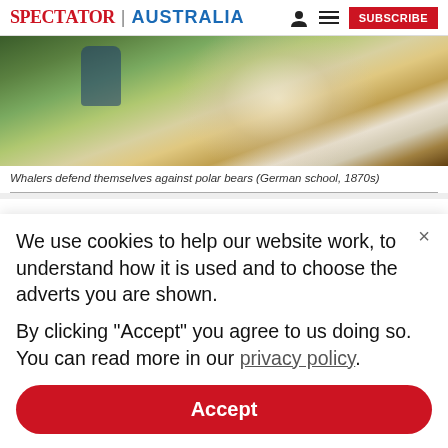SPECTATOR | AUSTRALIA
[Figure (photo): Painting showing whalers defending themselves against polar bears, green and white tones, figures visible]
Whalers defend themselves against polar bears (German school, 1870s)
We use cookies to help our website work, to understand how it is used and to choose the adverts you are shown.
By clicking "Accept" you agree to us doing so. You can read more in our privacy policy.